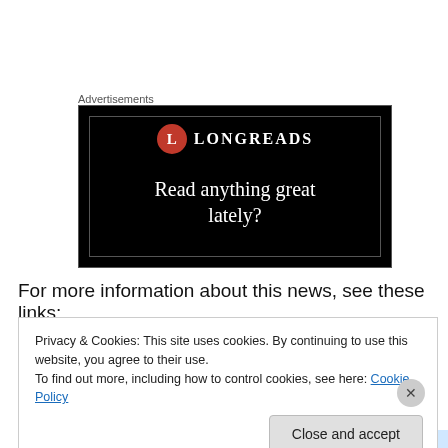Advertisements
[Figure (illustration): Longreads advertisement banner on black background with red circular logo and text 'Read anything great lately?']
For more information about this news, see these links:
Privacy & Cookies: This site uses cookies. By continuing to use this website, you agree to their use.
To find out more, including how to control cookies, see here: Cookie Policy